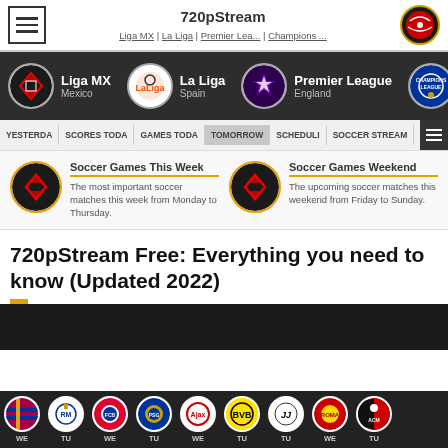720pStream | Liga MX | La Liga | Premier Lea... | Champions ...
[Figure (screenshot): Dark league navigation bar showing Liga MX (Mexico), La Liga (Spain), Premier League (England), and Champions League logos]
YESTERDA | SCORES TODA | GAMES TODA | TOMORROW | SCHEDULI | SOCCER STREAM
[Figure (infographic): Two cards: Soccer Games This Week - The most important soccer matches this week from Monday to Thursday. Soccer Games Weekend - The upcoming soccer matches this weekend from Friday to Sunday.]
720pStream Free: Everything you need to know (Updated 2022)
[Figure (screenshot): Footer team strip showing football club logos: Barcelona (WE), Real Madrid (TU), Bayern Munich (WE), PSG (TU), Ajax (WE), Borussia Dortmund (TU), Juventus (TU), Roma (WE), AC Milan (TU)]